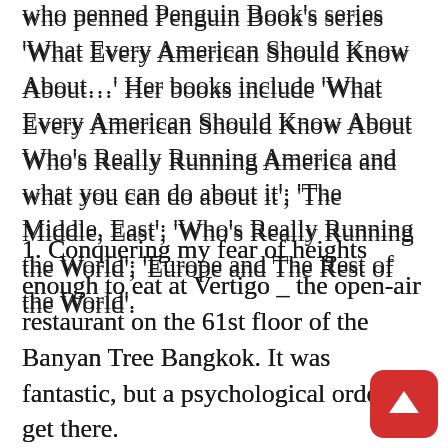who penned Penguin Book's series 'What Every American Should Know About…' Her books include 'What Every American Should Know About Who's Really Running America and what you can do about it'; 'The Middle, East'; 'Who's Really Running the World'; 'Europe and The Rest of the World'.
1. Conquering my fear of heights enough to eat at Vertigo _ the open-air restaurant on the 61st floor of the Banyan Tree Bangkok. It was fantastic, but a psychological ordeal to get there.
2. To fully appreciate the richness of life here and wherever I travel.
3. That women here would quit hitting on my 'significant other' when we're out. Waitresses to stewardesses, their sneaky attempts to slip him